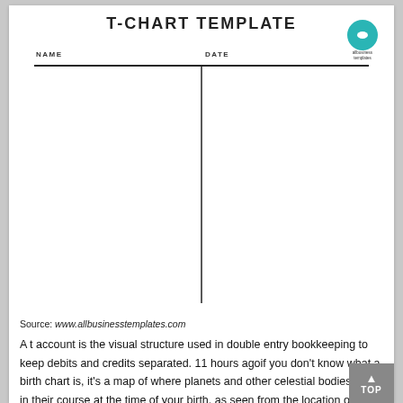T-CHART TEMPLATE
[Figure (other): A blank T-chart template with NAME and DATE fields at the top, a horizontal line spanning the width, and a vertical line descending from the center to create two columns.]
Source: www.allbusinesstemplates.com
A t account is the visual structure used in double entry bookkeeping to keep debits and credits separated. 11 hours agoif you don't know what a birth chart is, it's a map of where planets and other celestial bodies were in their course at the time of your birth, as seen from the location of calculate your birth chart, or astrology natal chart with full analysis and...